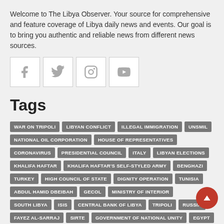Welcome to The Libya Observer. Your source for comprehensive and feature coverage of Libya daily news and events. Our goal is to bring you authentic and reliable news from different news sources.
[Figure (other): Social media icons: Facebook, Twitter, Instagram, YouTube — each in a white square border]
Tags
WAR ON TRIPOLI
LIBYAN CONFLICT
ILLEGAL IMMIGRATION
UNSMIL
NATIONAL OIL CORPORATION
HOUSE OF REPRESENTATIVES
CORONAVIRUS
PRESIDENTIAL COUNCIL
ITALY
LIBYAN ELECTIONS
KHALIFA HAFTAR
KHALIFA HAFTAR'S SELF-STYLED ARMY
BENGHAZI
TURKEY
HIGH COUNCIL OF STATE
DIGNITY OPERATION
TUNISIA
ABDUL HAMID DBEIBAH
GECOL
MINISTRY OF INTERIOR
SOUTH LIBYA
ISIS
CENTRAL BANK OF LIBYA
TRIPOLI
RUSSIA
FAYEZ AL-SARRAJ
SIRTE
GOVERNMENT OF NATIONAL UNITY
EGYPT
KHALED AL-MISHRI
GHASSAN SALAME
USA
LIBYAN COAST GUARD
FATHI BASHAGHA
SABHA
MISRATA
MINISTRY OF HEALTH
DERNA